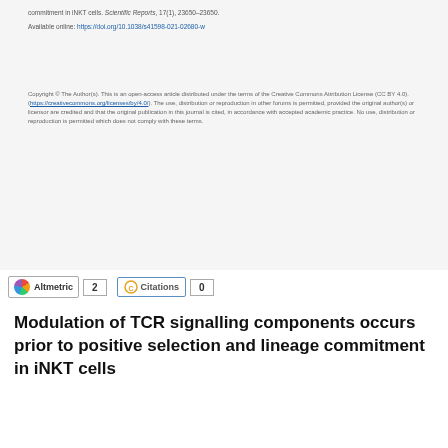commitment in iNKT cells. Scientific Reports, 17(1), 23650–23650.
Available online: https://doi.org/10.1038/s41598-021-02680-w
Copyright © The Author(s). This is an open-access article distributed under the terms of the Creative Commons Attribution License (CC BY 4.0) (https://creativecommons.org/licenses/by/4.0/). The use, distribution or reproduction in other forums is permitted, provided the original author(s) or licensor are credited and that the original publication in this journal is cited, in accordance with accepted academic practice. No use, distribution or reproduction is permitted which does not comply with these terms.
Modulation of TCR signalling components occurs prior to positive selection and lineage commitment in iNKT cells
- Dinh, Xuyen, Stanley, Dragana, Smith, Letitia, Moreau, Mor...